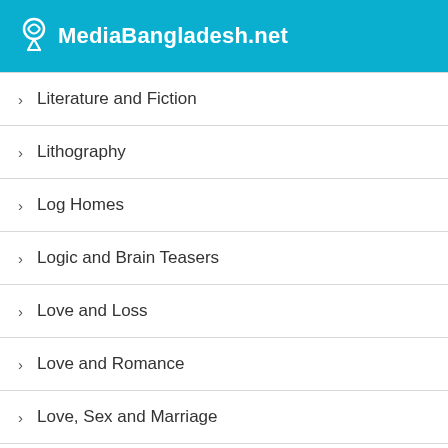MediaBangladesh.net
Literature and Fiction
Lithography
Log Homes
Logic and Brain Teasers
Love and Loss
Love and Romance
Love, Sex and Marriage
Low Carb
Low Carbohydrate